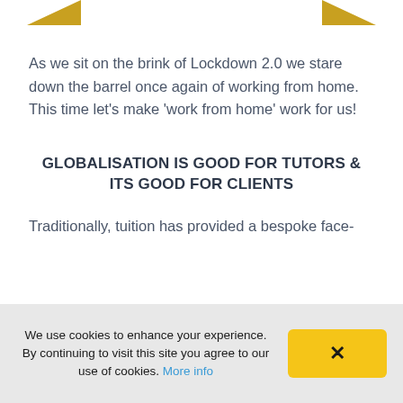[Figure (illustration): Partial gold/yellow triangular decorative shapes visible at top left and top right corners of the page]
As we sit on the brink of Lockdown 2.0 we stare down the barrel once again of working from home. This time let’s make ‘work from home’ work for us!
GLOBALISATION IS GOOD FOR TUTORS & ITS GOOD FOR CLIENTS
Traditionally, tuition has provided a bespoke face-
We use cookies to enhance your experience. By continuing to visit this site you agree to our use of cookies. More info